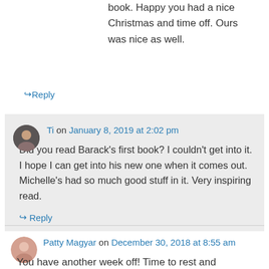book. Happy you had a nice Christmas and time off. Ours was nice as well.
↪ Reply
Ti on January 8, 2019 at 2:02 pm
Did you read Barack's first book? I couldn't get into it. I hope I can get into his new one when it comes out. Michelle's had so much good stuff in it. Very inspiring read.
↪ Reply
Patty Magyar on December 30, 2018 at 8:55 am
You have another week off! Time to rest and